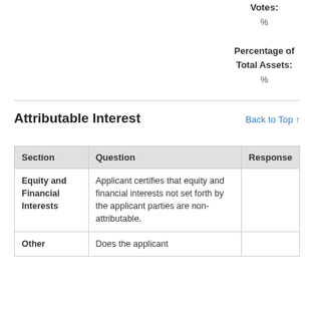Votes:
%
Percentage of Total Assets:
%
Attributable Interest
Back to Top ↑
| Section | Question | Response |
| --- | --- | --- |
| Equity and Financial Interests | Applicant certifies that equity and financial interests not set forth by the applicant parties are non-attributable. |  |
| Other | Does the applicant |  |